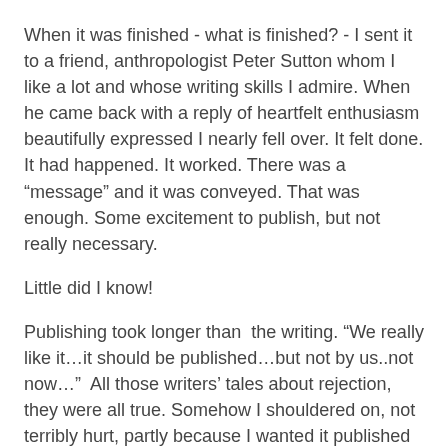When it was finished - what is finished? - I sent it to a friend, anthropologist Peter Sutton whom I like a lot and whose writing skills I admire. When he came back with a reply of heartfelt enthusiasm beautifully expressed I nearly fell over. It felt done. It had happened. It worked. There was a “message” and it was conveyed. That was enough. Some excitement to publish, but not really necessary.
Little did I know!
Publishing took longer than  the writing. “We really like it…it should be published…but not by us..not now…”  All those writers’ tales about rejection, they were all true. Somehow I shouldered on, not terribly hurt, partly because I wanted it published but did not feel invested in publishing. One other person read it with pleasure, so I felt all right. Kept going.
Finally came the email: “I’d like to publish your book.” It was Stephen Matthews at Ginninderra Press.  Ginninderra means “throwing out little rays of light”. Easter Sunday, 2015.